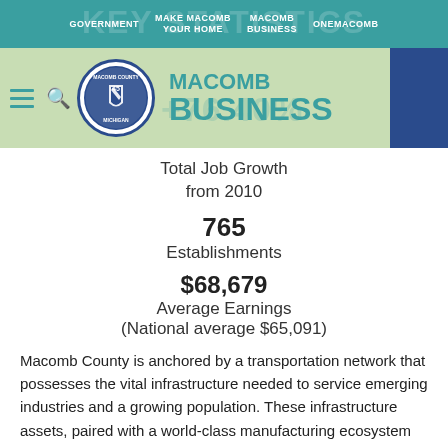GOVERNMENT  MAKE MACOMB YOUR HOME  MACOMB BUSINESS  ONE MACOMB
[Figure (logo): Macomb County Michigan seal logo with navigation bar and MACOMB BUSINESS header banner]
Total Job Growth from 2010
765 Establishments
$68,679 Average Earnings (National average $65,091)
Macomb County is anchored by a transportation network that possesses the vital infrastructure needed to service emerging industries and a growing population. These infrastructure assets, paired with a world-class manufacturing ecosystem have fostered a robust transportation, logistics, and warehousing sector featuring over 500 companies employing more than 8,500 workers